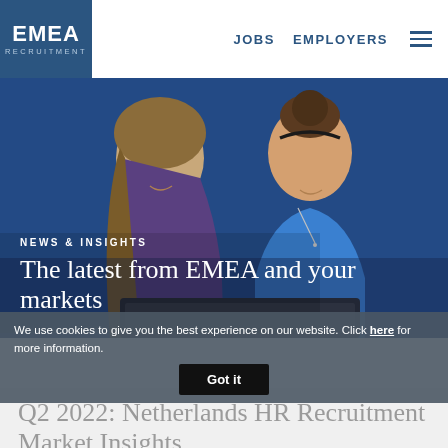EMEA RECRUITMENT | JOBS | EMPLOYERS
[Figure (photo): Two women looking at a tablet/laptop together, with a blue background]
NEWS & INSIGHTS
The latest from EMEA and your markets
We use cookies to give you the best experience on our website. Click here for more information.
Got it
Q2 2022: Netherlands HR Recruitment Market Insights
May 09, 2022